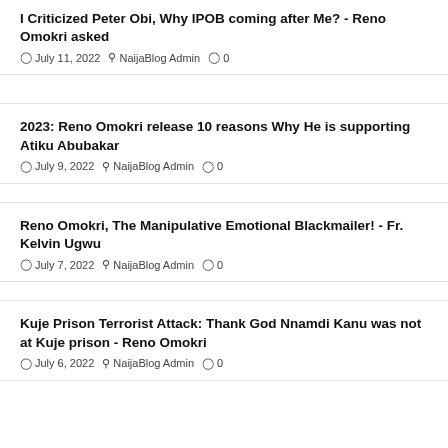I Criticized Peter Obi, Why IPOB coming after Me? - Reno Omokri asked
July 11, 2022  NaijaBlog Admin  0
2023: Reno Omokri release 10 reasons Why He is supporting Atiku Abubakar
July 9, 2022  NaijaBlog Admin  0
Reno Omokri, The Manipulative Emotional Blackmailer! - Fr. Kelvin Ugwu
July 7, 2022  NaijaBlog Admin  0
Kuje Prison Terrorist Attack: Thank God Nnamdi Kanu was not at Kuje prison - Reno Omokri
July 6, 2022  NaijaBlog Admin  0